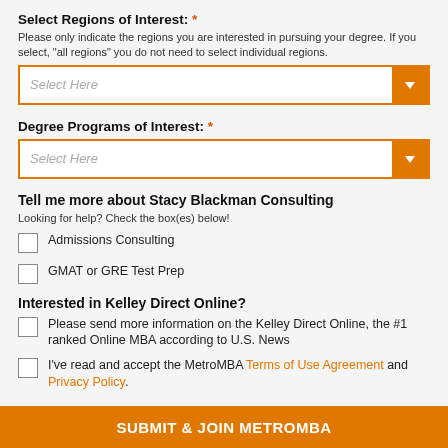Select Regions of Interest: *
Please only indicate the regions you are interested in pursuing your degree. If you select, "all regions" you do not need to select individual regions.
Select Here (dropdown)
Degree Programs of Interest: *
Select Here (dropdown)
Tell me more about Stacy Blackman Consulting
Looking for help? Check the box(es) below!
Admissions Consulting
GMAT or GRE Test Prep
Interested in Kelley Direct Online?
Please send more information on the Kelley Direct Online, the #1 ranked Online MBA according to U.S. News
I've read and accept the MetroMBA Terms of Use Agreement and Privacy Policy.
SUBMIT & JOIN METROMBA